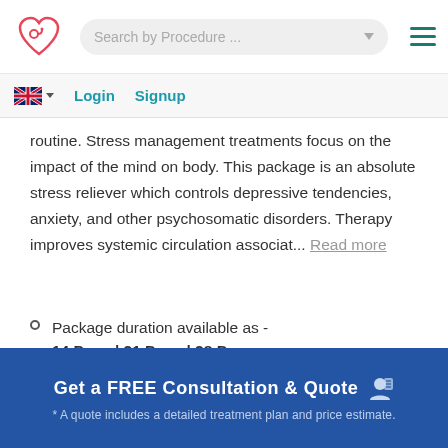[Figure (logo): Medical tourism website logo — red heart with stethoscope outline]
Search by Procedure ...
Login   Signup
routine. Stress management treatments focus on the impact of the mind on body. This package is an absolute stress reliever which controls depressive tendencies, anxiety, and other psychosomatic disorders. Therapy improves systemic circulation associat... Read more
Package duration available as - 14 Days | 21 Days | 28 Days
Package Price starts from $ 3690
Get a FREE Consultation & Quote
* A quote includes a detailed treatment plan and price estimate.